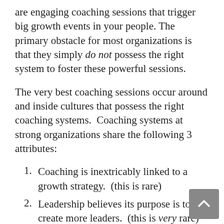are engaging coaching sessions that trigger big growth events in your people. The primary obstacle for most organizations is that they simply do not possess the right system to foster these powerful sessions.
The very best coaching sessions occur around and inside cultures that possess the right coaching systems. Coaching systems at strong organizations share the following 3 attributes:
Coaching is inextricably linked to a growth strategy. (this is rare)
Leadership believes its purpose is to create more leaders. (this is very rare)
Coaching is a hardwired habit, as opposed to a dreaded chore. (this is